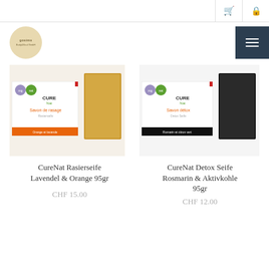gosims Body & Soul GmbH — navigation bar with cart and lock icons, hamburger menu
[Figure (photo): Product photo of CureNat Rasierseife Lavendel & Orange 95gr soap bar with orange packaging and golden-colored bar]
[Figure (photo): Product photo of CureNat Detox Seife Rosmarin & Aktivkohle 95gr soap bar with white packaging and black-colored bar]
CureNat Rasierseife Lavendel & Orange 95gr
CHF 15.00
CureNat Detox Seife Rosmarin & Aktivkohle 95gr
CHF 12.00